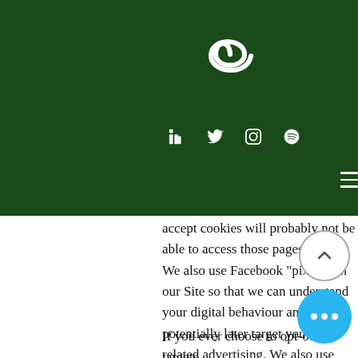[Figure (logo): Green header bar with white spiral logo, social media icons (LinkedIn, Twitter, Instagram, Spotify), and hamburger menu]
ntially ur re a de web ookies o
accept cookies will probably not be able to access those pages. We also use Facebook “pixels” on our Site so that we can understand your digital behaviour and potentially later target you with related advertising. We also use Google Analytics to understand how l you might spend on our Sites or how y interact with our Sites.
If you ever choose to opt-out of targete